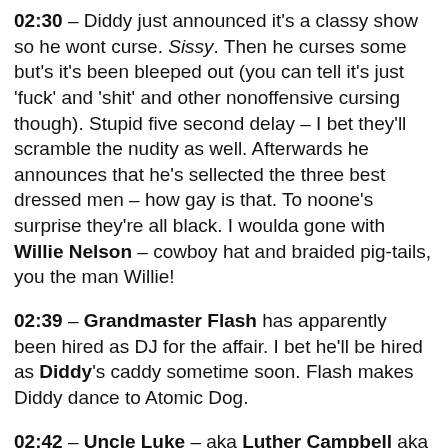02:30 – Diddy just announced it's a classy show so he wont curse. Sissy. Then he curses some but's it's been bleeped out (you can tell it's just 'fuck' and 'shit' and other nonoffensive cursing though). Stupid five second delay – I bet they'll scramble the nudity as well. Afterwards he announces that he's sellected the three best dressed men – how gay is that. To noone's surprise they're all black. I woulda gone with Willie Nelson – cowboy hat and braided pig-tails, you the man Willie!
02:39 – Grandmaster Flash has apparently been hired as DJ for the affair. I bet he'll be hired as Diddy's caddy sometime soon. Flash makes Diddy dance to Atomic Dog.
02:42 – Uncle Luke – aka Luther Campbell aka Captain Dick of 2 Live Crew – comes out real quick. Since all his songs contain the same amount of profanity as the average South Park episode he's limited to just chanting 'Go diddy!'...Now MC Hammer's out here. He does a fucked up version of Can't Touch This. No big-ass pants though. Nuts. Noone enjoys it other